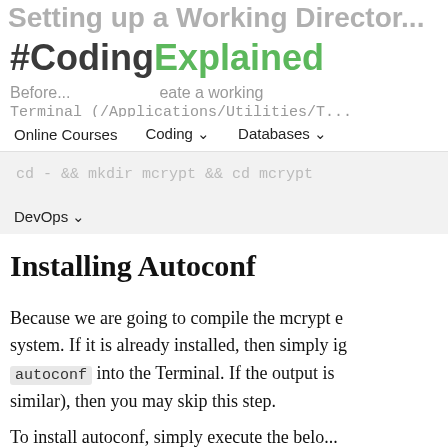Setting up a Working Director...
[Figure (logo): #CodingExplained logo with hash and coding in dark, Explained in green]
Before... create a working
Terminal (/Applications/Utilities/T...
Online Courses   Coding ∨   Databases ∨
cd - && mkdir mcrypt && cd mcrypt
DevOps ∨
Installing Autoconf
Because we are going to compile the mcrypt e system. If it is already installed, then simply ig autoconf into the Terminal. If the output is similar), then you may skip this step.
To install autoconf, simply execute the belo...